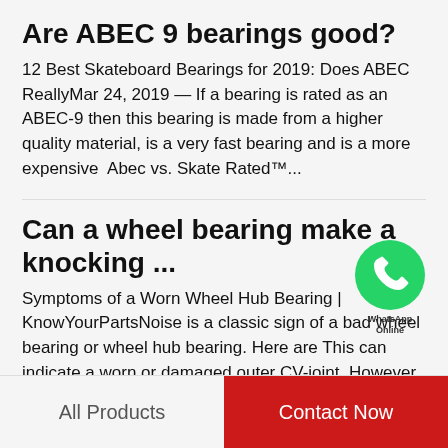Are ABEC 9 bearings good?
12 Best Skateboard Bearings for 2019: Does ABEC ReallyMar 24, 2019 — If a bearing is rated as an ABEC-9 then this bearing is made from a higher quality material, is a very fast bearing and is a more expensive  Abec vs. Skate Rated™...
Can a wheel bearing make a knocking ...
[Figure (logo): WhatsApp green circle icon with phone handset, labeled 'WhatsApp Online']
Symptoms of a Worn Wheel Hub Bearing | KnowYourPartsNoise is a classic sign of a bad wheel bearing or wheel hub bearing. Here are This can indicate a worn or damaged outer CV-joint. However This noise is typically heard when cornering or making sharp...
All Products    Contact Now